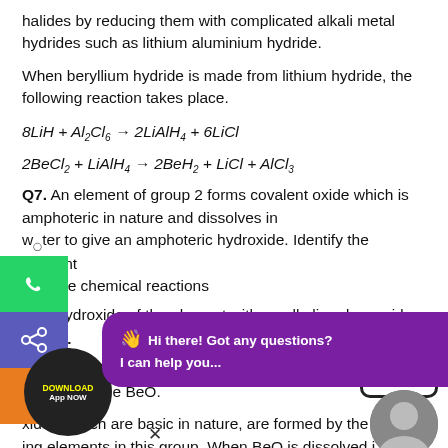halides by reducing them with complicated alkali metal hydrides such as lithium aluminium hydride.
When beryllium hydride is made from lithium hydride, the following reaction takes place.
Q7. An element of group 2 forms covalent oxide which is amphoteric in nature and dissolves in water to give an amphoteric hydroxide. Identify the element and write chemical reactions of the hydroxide of the element with an alkali and an acid.
Answer:
Be is the only element in group 2 that forms amphoteric covalent oxide BeO.
Oxides, which are basic in nature, are formed by the remaining elements in this group. When BeO is dissolved in water, it produces a sparingly soluble hydroxide that interacts with acid and base to form salt.